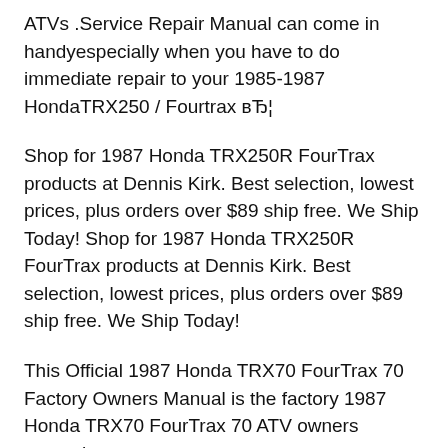ATVs .Service Repair Manual can come in handyespecially when you have to do immediate repair to your 1985-1987 HondaTRX250 / Fourtrax вЂ¦
Shop for 1987 Honda TRX250R FourTrax products at Dennis Kirk. Best selection, lowest prices, plus orders over $89 ship free. We Ship Today! Shop for 1987 Honda TRX250R FourTrax products at Dennis Kirk. Best selection, lowest prices, plus orders over $89 ship free. We Ship Today!
This Official 1987 Honda TRX70 FourTrax 70 Factory Owners Manual is the factory 1987 Honda TRX70 FourTrax 70 ATV owners manual.